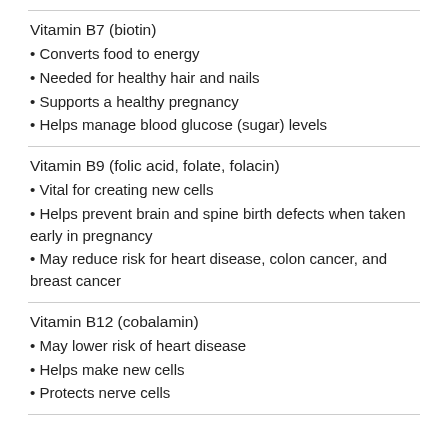Vitamin B7 (biotin)
• Converts food to energy
• Needed for healthy hair and nails
• Supports a healthy pregnancy
• Helps manage blood glucose (sugar) levels
Vitamin B9 (folic acid, folate, folacin)
• Vital for creating new cells
• Helps prevent brain and spine birth defects when taken early in pregnancy
• May reduce risk for heart disease, colon cancer, and breast cancer
Vitamin B12 (cobalamin)
• May lower risk of heart disease
• Helps make new cells
• Protects nerve cells